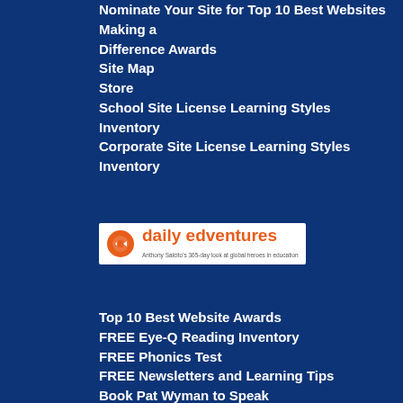Nominate Your Site for Top 10 Best Websites Making a Difference Awards
Site Map
Store
School Site License Learning Styles Inventory
Corporate Site License Learning Styles Inventory
[Figure (logo): Daily Edventures logo — orange circle with arrow icon, orange bold text 'daily edventures', subtitle 'Anthony Salcito's 365-day look at global heroes in education']
Top 10 Best Website Awards
FREE Eye-Q Reading Inventory
FREE Phonics Test
FREE Newsletters and Learning Tips
Book Pat Wyman to Speak